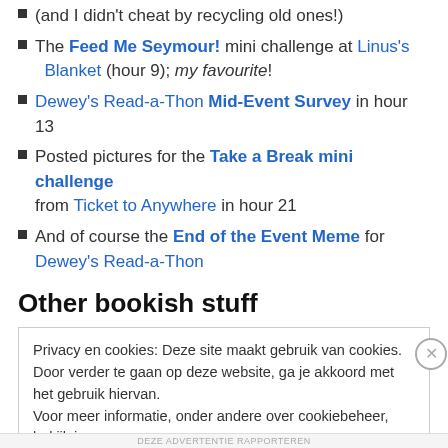(and I didn't cheat by recycling old ones!)
The Feed Me Seymour! mini challenge at Linus's Blanket (hour 9); my favourite!
Dewey's Read-a-Thon Mid-Event Survey in hour 13
Posted pictures for the Take a Break mini challenge from Ticket to Anywhere in hour 21
And of course the End of the Event Meme for Dewey's Read-a-Thon
Other bookish stuff
Privacy en cookies: Deze site maakt gebruik van cookies. Door verder te gaan op deze website, ga je akkoord met het gebruik hiervan. Voor meer informatie, onder andere over cookiebeheer, bekijk je: Cookiebeleid
Sluiten en bevestigen